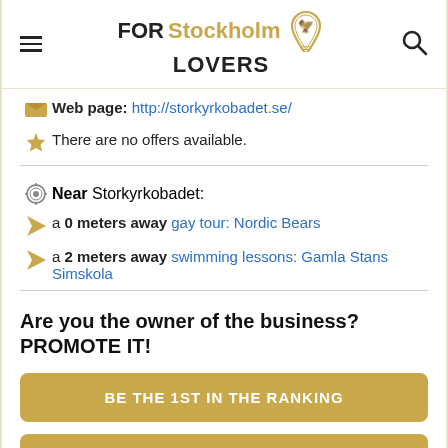FOR Stockholm LOVERS
Web page: http://storkyrkobadet.se/
There are no offers available.
Near Storkyrkobadet:
a 0 meters away gay tour: Nordic Bears
a 2 meters away swimming lessons: Gamla Stans Simskola
Are you the owner of the business? PROMOTE IT!
BE THE 1ST IN THE RANKING
EXCLUSIVE PAGE